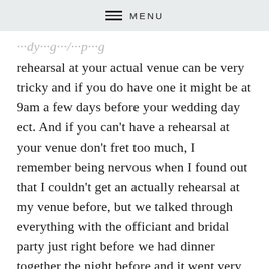MENU
rehearsal at your actual venue can be very tricky and if you do have one it might be at 9am a few days before your wedding day ect. And if you can't have a rehearsal at your venue don't fret too much, I remember being nervous when I found out that I couldn't get an actually rehearsal at my venue before, but we talked through everything with the officiant and bridal party just right before we had dinner together the night before and it went very well!